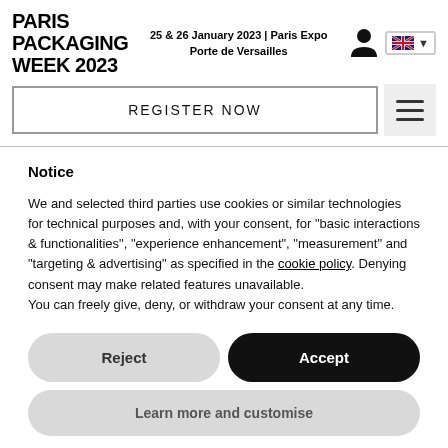PARIS PACKAGING WEEK 2023 | 25 & 26 January 2023 | Paris Expo Porte de Versailles
REGISTER NOW
Notice
We and selected third parties use cookies or similar technologies for technical purposes and, with your consent, for "basic interactions & functionalities", "experience enhancement", "measurement" and "targeting & advertising" as specified in the cookie policy. Denying consent may make related features unavailable.
You can freely give, deny, or withdraw your consent at any time.
Reject
Accept
Learn more and customise